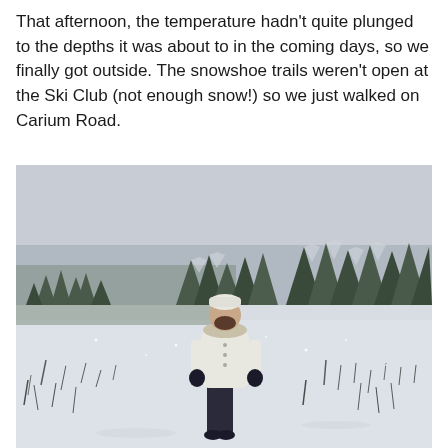That afternoon, the temperature hadn't quite plunged to the depths it was about to in the coming days, so we finally got outside. The snowshoe trails weren't open at the Ski Club (not enough snow!) so we just walked on Carium Road.
[Figure (photo): A person wearing a white winter coat and hat standing in a snowy open field. In the background there is a treeline of snow-covered conifer trees under an overcast grey sky.]